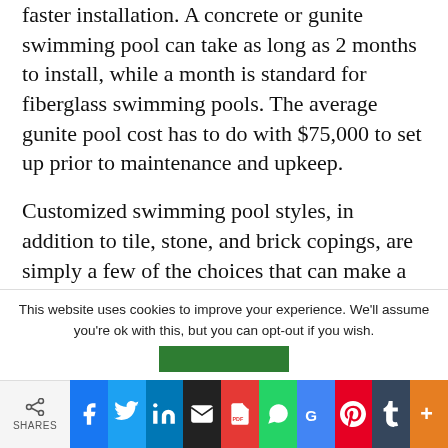faster installation. A concrete or gunite swimming pool can take as long as 2 months to install, while a month is standard for fiberglass swimming pools. The average gunite pool cost has to do with $75,000 to set up prior to maintenance and upkeep.
Customized swimming pool styles, in addition to tile, stone, and brick copings, are simply a few of the choices that can make a fiberglass swimming pool every bit as appealing as more standard alternatives. Fiberglass Swimming Pools: The Cons
This website uses cookies to improve your experience. We'll assume you're ok with this, but you can opt-out if you wish.
SHARES | Facebook | Twitter | LinkedIn | Email | PDF | WhatsApp | Google | Pinterest | Tumblr | More